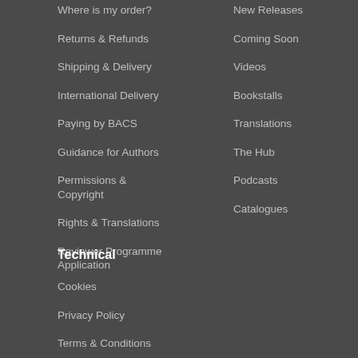Where is my order?
Returns & Refunds
Shipping & Delivery
International Delivery
Paying by BACS
Guidance for Authors
Permissions & Copyright
Rights & Translations
Reviewer Programme Application
New Releases
Coming Soon
Videos
Bookstalls
Translations
The Hub
Podcasts
Catalogues
Technical
Cookies
Privacy Policy
Terms & Conditions
ebook troubleshooting